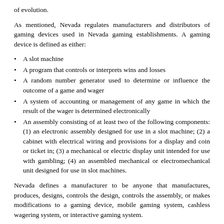of evolution.
As mentioned, Nevada regulates manufacturers and distributors of gaming devices used in Nevada gaming establishments. A gaming device is defined as either:
A slot machine
A program that controls or interprets wins and losses
A random number generator used to determine or influence the outcome of a game and wager
A system of accounting or management of any game in which the result of the wager is determined electronically
An assembly consisting of at least two of the following components: (1) an electronic assembly designed for use in a slot machine; (2) a cabinet with electrical wiring and provisions for a display and coin or ticket in; (3) a mechanical or electric display unit intended for use with gambling; (4) an assembled mechanical or electromechanical unit designed for use in slot machines.
Nevada defines a manufacturer to be anyone that manufactures, produces, designs, controls the design, controls the assembly, or makes modifications to a gaming device, mobile gaming system, cashless wagering system, or interactive gaming system.
The combination of the broad definition of a gaming device with the broad definition of a manufacturer means consistent with critical